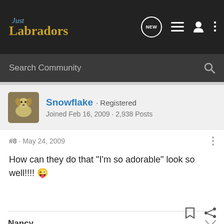Just Labradors
Search Community
Snowflake · Registered
Joined Feb 16, 2009 · 2,938 Posts
#8 · May 24, 2009
How can they do that "I'm so adorable" look so well!!!!
Nancy